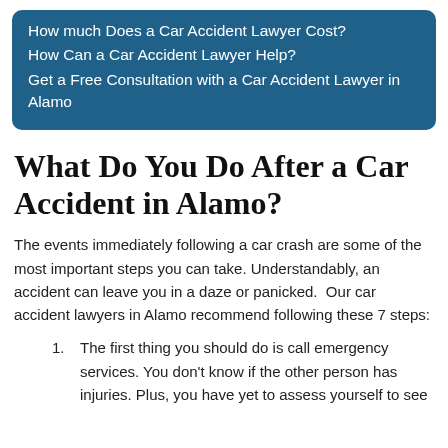How much Does a Car Accident Lawyer Cost?
How Can a Car Accident Lawyer Help?
Get a Free Consultation with a Car Accident Lawyer in Alamo
What Do You Do After a Car Accident in Alamo?
The events immediately following a car crash are some of the most important steps you can take. Understandably, an accident can leave you in a daze or panicked.  Our car accident lawyers in Alamo recommend following these 7 steps:
The first thing you should do is call emergency services. You don't know if the other person has injuries. Plus, you have yet to assess yourself to see